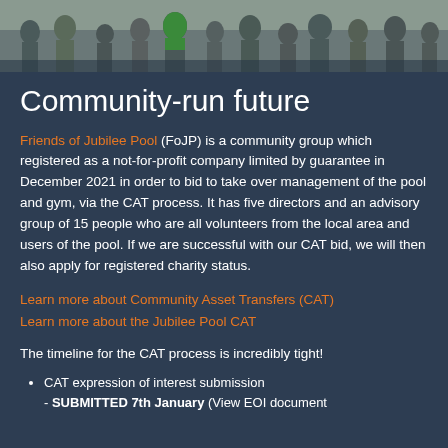[Figure (photo): A crowd of people including children gathered outside, photo strip at top of page]
Community-run future
Friends of Jubilee Pool (FoJP) is a community group which registered as a not-for-profit company limited by guarantee in December 2021 in order to bid to take over management of the pool and gym, via the CAT process. It has five directors and an advisory group of 15 people who are all volunteers from the local area and users of the pool. If we are successful with our CAT bid, we will then also apply for registered charity status.
Learn more about Community Asset Transfers (CAT)
Learn more about the Jubilee Pool CAT
The timeline for the CAT process is incredibly tight!
CAT expression of interest submission - SUBMITTED 7th January (View EOI document